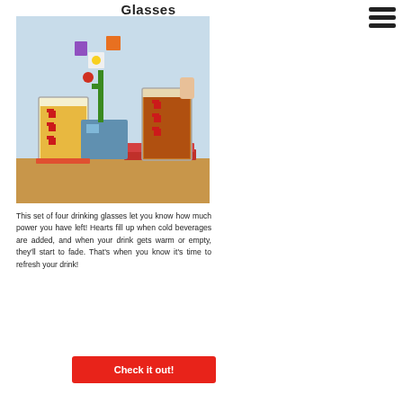Glasses
[Figure (photo): Two pixel-art style drinking glasses filled with beer, next to a decorative pixel-art flower vase on a wooden table. The glasses feature red pixel heart designs.]
This set of four drinking glasses let you know how much power you have left! Hearts fill up when cold beverages are added, and when your drink gets warm or empty, they'll start to fade. That's when you know it's time to refresh your drink!
Check it out!